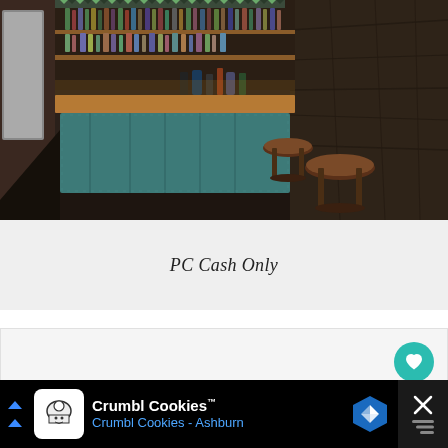[Figure (photo): Interior photo of a bar with a teal/blue-painted wooden bar counter, wooden countertop with bottles and bar equipment, bar stools, and dark stone/concrete walls in warm lighting.]
PC Cash Only
[Figure (other): A second content card with light gray background, empty/loading area with a heart (favorite) button and share button on the right side.]
Crumbl Cookies™ Crumbl Cookies - Ashburn